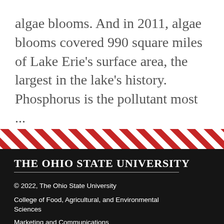algae blooms. And in 2011, algae blooms covered 990 square miles of Lake Erie's surface area, the largest in the lake's history. Phosphorus is the pollutant most ...
[Figure (illustration): Diagonal red and white striped decorative band spanning the full width of the page, serving as a visual separator between content and footer.]
The Ohio State University
© 2022, The Ohio State University
College of Food, Agricultural, and Environmental Sciences
Marketing and Communications